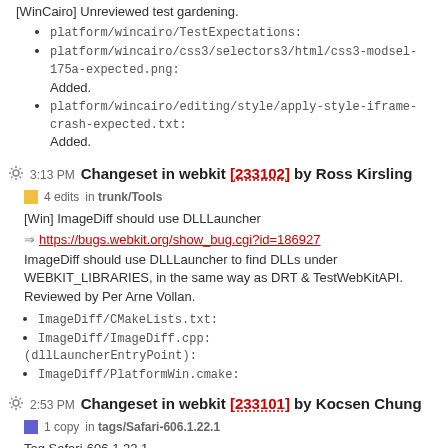[WinCairo] Unreviewed test gardening.
platform/wincairo/TestExpectations:
platform/wincairo/css3/selectors3/html/css3-modsel-175a-expected.png: Added.
platform/wincairo/editing/style/apply-style-iframe-crash-expected.txt: Added.
3:13 PM Changeset in webkit [233102] by Ross Kirsling
4 edits in trunk/Tools
[Win] ImageDiff should use DLLLauncher
https://bugs.webkit.org/show_bug.cgi?id=186927
ImageDiff should use DLLLauncher to find DLLs under WEBKIT_LIBRARIES, in the same way as DRT & TestWebKitAPI. Reviewed by Per Arne Vollan.
ImageDiff/CMakeLists.txt:
ImageDiff/ImageDiff.cpp:
(dllLauncherEntryPoint):
ImageDiff/PlatformWin.cmake:
2:53 PM Changeset in webkit [233101] by Kocsen Chung
1 copy in tags/Safari-606.1.22.1
Tag Safari-606.1.22.1.